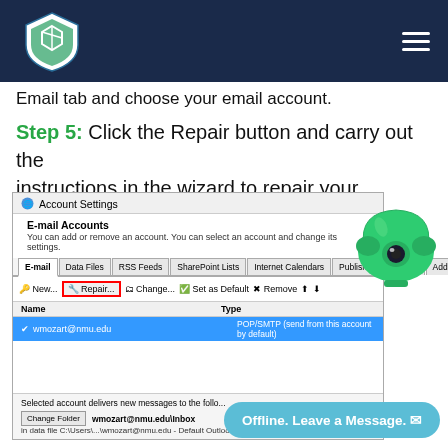Header with logo and navigation
Email tab and choose your email account.
Step 5:  Click the Repair button and carry out the instructions in the wizard to repair your Outlook profile.
[Figure (screenshot): Account Settings dialog showing E-mail Accounts tab with Repair button highlighted in red box, and wmozart@nmu.edu account listed as POP/SMTP type]
[Figure (illustration): Green cartoon telephone illustration]
Offline. Leave a Message.